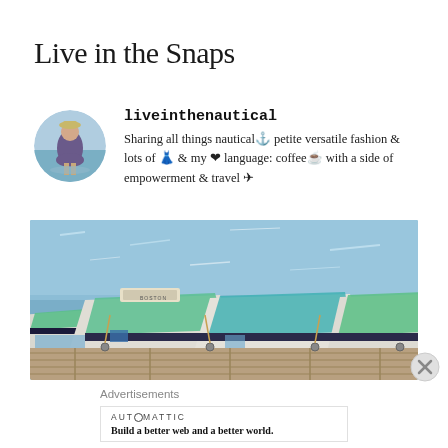Live in the Snaps
liveinthenautical
Sharing all things nautical⚓ petite versatile fashion & lots of 👗 & my ❤ language: coffee☕ with a side of empowerment & travel ✈
[Figure (photo): Photo of multiple small rowboats with teal/green interiors moored at a wooden dock, with blue water in the background.]
Advertisements
AUTOMATTIC
Build a better web and a better world.